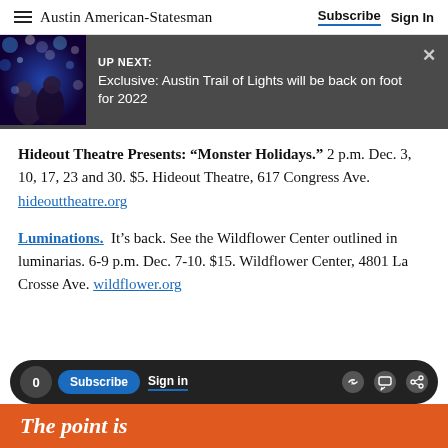Austin American-Statesman  Subscribe  Sign In
[Figure (screenshot): UP NEXT banner with photo of two people at Trail of Lights. Text: UP NEXT: Exclusive: Austin Trail of Lights will be back on foot for 2022]
Hideout Theatre Presents: “Monster Holidays.” 2 p.m. Dec. 3, 10, 17, 23 and 30. $5. Hideout Theatre, 617 Congress Ave.  hideouttheatre.org
Luminations.  It’s back. See the Wildflower Center outlined in luminarias. 6-9 p.m. Dec. 7-10. $15. Wildflower Center, 4801 La Crosse Ave. wildflower.org
0  Subscribe  Sign in  [share icons]  The point is